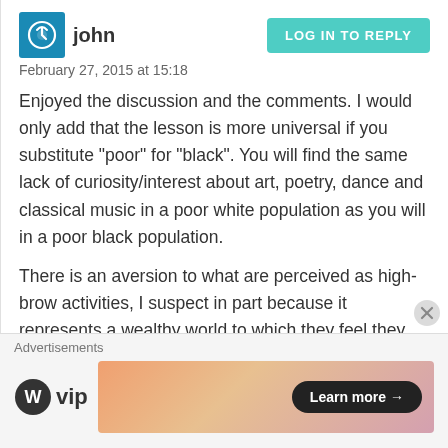john
February 27, 2015 at 15:18
Enjoyed the discussion and the comments. I would only add that the lesson is more universal if you substitute “poor” for “black”. You will find the same lack of curiosity/interest about art, poetry, dance and classical music in a poor white population as you will in a poor black population.
There is an aversion to what are perceived as high-brow activities, I suspect in part because it represents a wealthy world to which they feel they will never be part of. All the more reason to emphasize these things in our public school system.
Advertisements
[Figure (logo): WordPress VIP logo with circle W icon]
[Figure (other): Advertisement banner with gradient orange/pink background and 'Learn more' button]